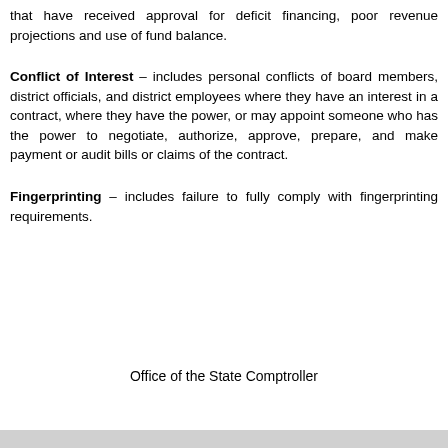that have received approval for deficit financing, poor revenue projections and use of fund balance.
Conflict of Interest – includes personal conflicts of board members, district officials, and district employees where they have an interest in a contract, where they have the power, or may appoint someone who has the power to negotiate, authorize, approve, prepare, and make payment or audit bills or claims of the contract.
Fingerprinting – includes failure to fully comply with fingerprinting requirements.
Office of the State Comptroller